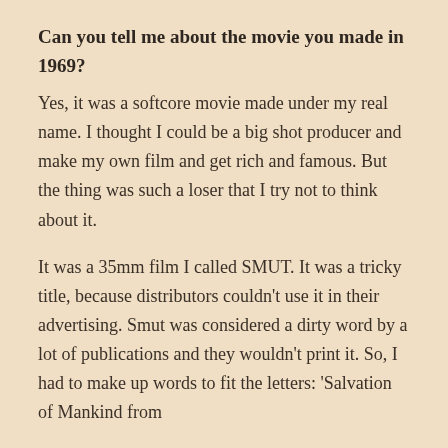Can you tell me about the movie you made in 1969?
Yes, it was a softcore movie made under my real name. I thought I could be a big shot producer and make my own film and get rich and famous. But the thing was such a loser that I try not to think about it.
It was a 35mm film I called SMUT. It was a tricky title, because distributors couldn't use it in their advertising. Smut was considered a dirty word by a lot of publications and they wouldn't print it. So, I had to make up words to fit the letters: 'Salvation of Mankind from